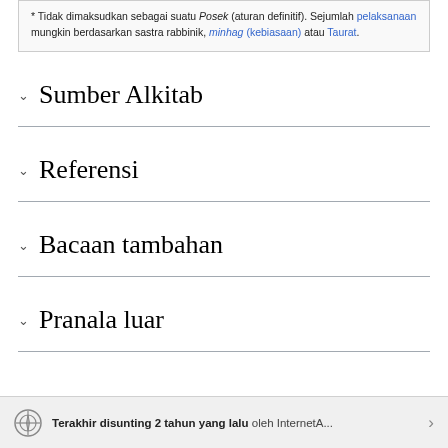* Tidak dimaksudkan sebagai suatu Posek (aturan definitif). Sejumlah pelaksanaan mungkin berdasarkan sastra rabbinik, minhag (kebiasaan) atau Taurat.
Sumber Alkitab
Referensi
Bacaan tambahan
Pranala luar
Terakhir disunting 2 tahun yang lalu oleh InternetA...